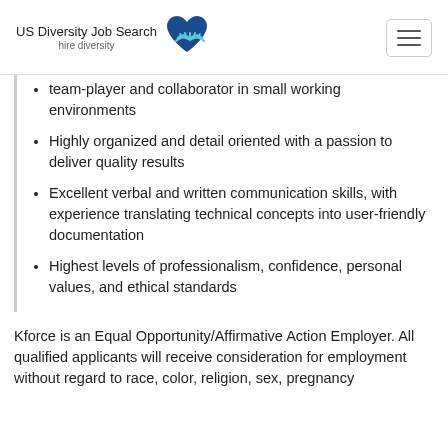US Diversity Job Search hire diversity
team-player and collaborator in small working environments
Highly organized and detail oriented with a passion to deliver quality results
Excellent verbal and written communication skills, with experience translating technical concepts into user-friendly documentation
Highest levels of professionalism, confidence, personal values, and ethical standards
Kforce is an Equal Opportunity/Affirmative Action Employer. All qualified applicants will receive consideration for employment without regard to race, color, religion, sex, pregnancy